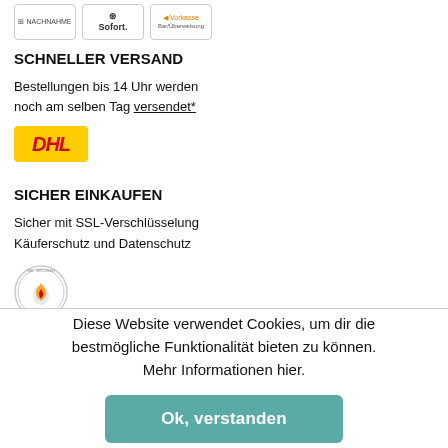[Figure (screenshot): Payment method icons: Nachnahme, Sofort, Vorkasse]
SCHNELLER VERSAND
Bestellungen bis 14 Uhr werden noch am selben Tag versendet*
[Figure (logo): DHL logo on yellow background]
SICHER EINKAUFEN
Sicher mit SSL-Verschlüsselung
Käuferschutz und Datenschutz
[Figure (logo): SSL security badge / seal with flame icon]
Diese Website verwendet Cookies, um dir die bestmögliche Funktionalität bieten zu können. Mehr Informationen hier.